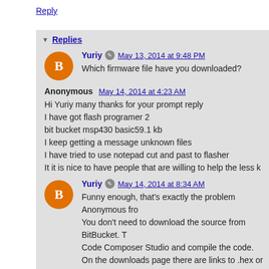Reply
Replies
Yuriy  May 13, 2014 at 9:48 PM
Which firmware file have you downloaded?
Anonymous  May 14, 2014 at 4:23 AM
Hi Yuriy many thanks for your prompt reply
I have got flash programer 2
bit bucket msp430 basic59.1 kb
I keep getting a message unknown files
I have tried to use notepad cut and past to flasher
It it is nice to have people that are willing to help the less k
Yuriy  May 14, 2014 at 8:34 AM
Funny enough, that's exactly the problem Anonymous fro
You don't need to download the source from BitBucket. T
Code Composer Studio and compile the code.
On the downloads page there are links to .hex or .txt p